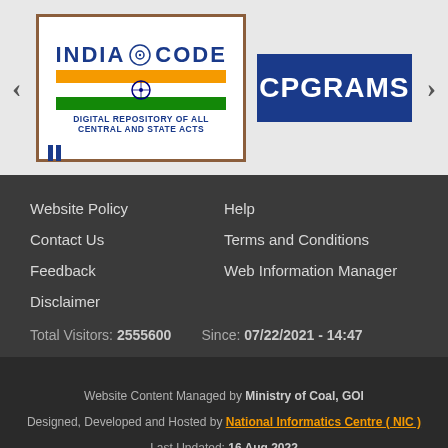[Figure (logo): India Code logo - Digital Repository of All Central and State Acts]
[Figure (logo): CPGRAMS logo on dark blue background]
Website Policy
Help
Contact Us
Terms and Conditions
Feedback
Web Information Manager
Disclaimer
Total Visitors: 2555600    Since: 07/22/2021 - 14:47
Website Content Managed by Ministry of Coal, GOI
Designed, Developed and Hosted by National Informatics Centre ( NIC )
Last Updated: 16 Aug 2022
[Figure (logo): BUILT ON CMF logo]